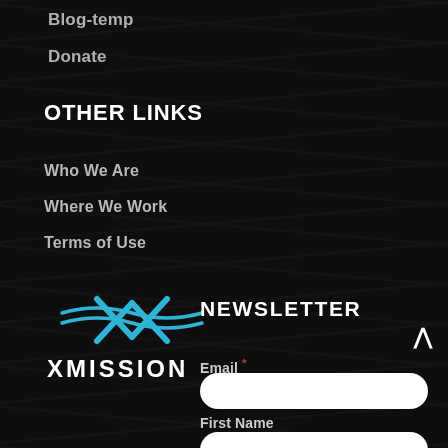Blog-temp
Donate
OTHER LINKS
Who We Are
Where We Work
Terms of Use
[Figure (logo): XMission logo — cyan X with wave lines above text XMISSION]
NEWSLETTER
Email *
First Name